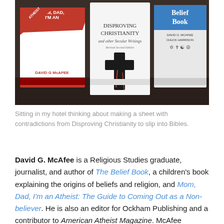[Figure (photo): Photo of three books on a dark table: 'Mom, Dad I'm an Atheist' by David G McAfee (left, red cover), 'Disproving Christianity and other Secular Writings' (center, white cover with a cross), and 'The Belief Book' by David G. McAfee and Chuck Harrison (right).]
Sitting in my hotel thinking about making a sheet with contradictions from Disproving Christianity to slip into Bibles.
David G. McAfee is a Religious Studies graduate, journalist, and author of The Belief Book, a children's book explaining the origins of beliefs and religion, and Mom, Dad, I'm an Atheist: The Guide to Coming Out as a Non-believer. He is also an editor for Ockham Publishing and a contributor to American Atheist Magazine. McAfee